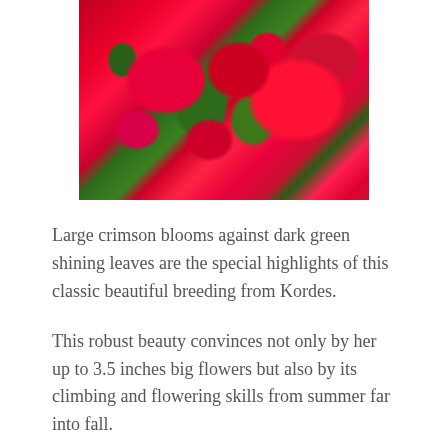[Figure (photo): Close-up photograph of large crimson/red roses in bloom with dark green shining leaves visible among the flowers]
Large crimson blooms against dark green shining leaves are the special highlights of this classic beautiful breeding from Kordes.
This robust beauty convinces not only by her up to 3.5 inches big flowers but also by its climbing and flowering skills from summer far into fall.
The flowers form dense, beautiful flower-pillows. In front of the dark-green, glossy foliage with small, wavy individual blooms the effect of the garden is impressive.